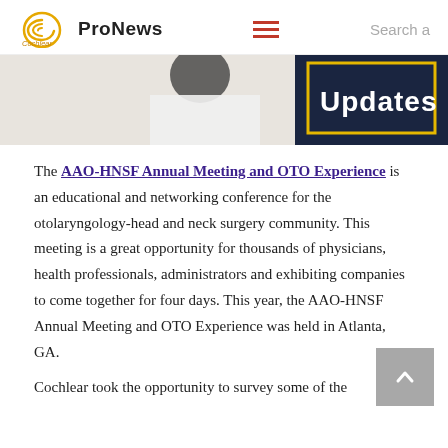Cochlear ProNews — navigation bar with hamburger menu and search
[Figure (photo): Hero image showing a person in a white lab coat at a computer, with a dark navy panel on the right showing the word 'Updates' in large white text with a yellow rectangle border accent]
The AAO-HNSF Annual Meeting and OTO Experience is an educational and networking conference for the otolaryngology-head and neck surgery community. This meeting is a great opportunity for thousands of physicians, health professionals, administrators and exhibiting companies to come together for four days. This year, the AAO-HNSF Annual Meeting and OTO Experience was held in Atlanta, GA.
Cochlear took the opportunity to survey some of the